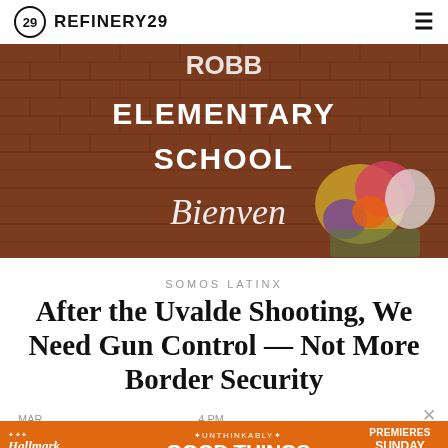REFINERY29
[Figure (photo): Robb Elementary School brick wall sign with flowers memorial, sign reads 'ELEMENTARY SCHOOL Bienven...']
SOMOS LATINX
After the Uvalde Shooting, We Need Gun Control — Not More Border Security
MAR ... 4 PM
[Figure (infographic): Hallmark Movies & Mysteries advertisement banner: 'Unthinkably GOOD THINGS PREMIERES SUNDAY 9/8c']